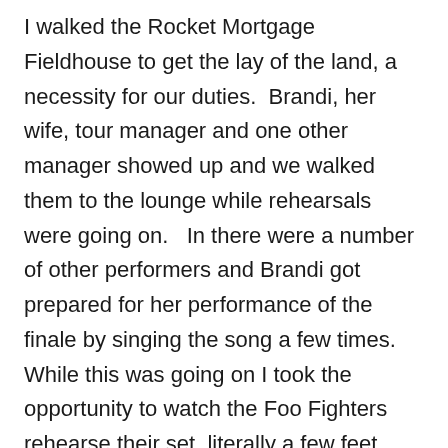I walked the Rocket Mortgage Fieldhouse to get the lay of the land, a necessity for our duties.  Brandi, her wife, tour manager and one other manager showed up and we walked them to the lounge while rehearsals were going on.   In there were a number of other performers and Brandi got prepared for her performance of the finale by singing the song a few times.  While this was going on I took the opportunity to watch the Foo Fighters rehearse their set, literally a few feet from the stage.  That was a thrill!
Then it came time to work on the finale.  Involved were the Foo Fighters, The Go-Go's, Brandi, Mickey Guyton, H.E.R. and Jennifer Hudson.  They worked